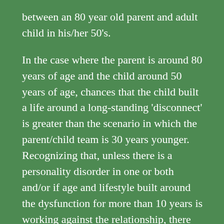between an 80 year old parent and adult child in his/her 50's.
In the case where the parent is around 80 years of age and the child around 50 years of age, chances that the child built a life around a long-standing 'disconnect' is greater than the scenario in which the parent/child team is 30 years younger. Recognizing that, unless there is a personality disorder in one or both and/or if age and lifestyle built around the dysfunction for more than 10 years is working against the relationship, there are steps each can take to re-build the healthy, happy relationship both desire.